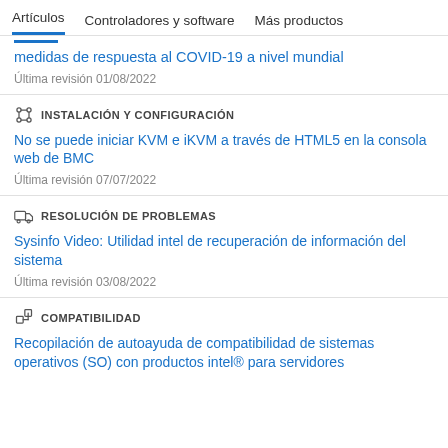Artículos   Controladores y software   Más productos
medidas de respuesta al COVID-19 a nivel mundial
Última revisión 01/08/2022
INSTALACIÓN Y CONFIGURACIÓN
No se puede iniciar KVM e iKVM a través de HTML5 en la consola web de BMC
Última revisión 07/07/2022
RESOLUCIÓN DE PROBLEMAS
Sysinfo Video: Utilidad intel de recuperación de información del sistema
Última revisión 03/08/2022
COMPATIBILIDAD
Recopilación de autoayuda de compatibilidad de sistemas operativos (SO) con productos intel® para servidores